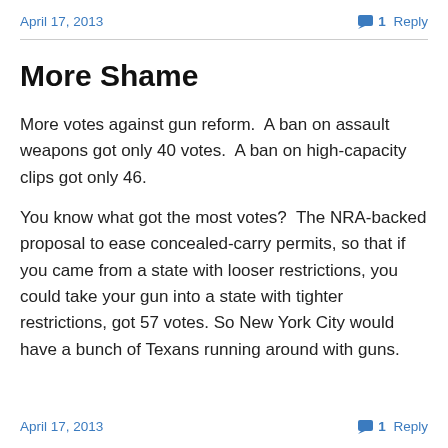April 17, 2013    1 Reply
More Shame
More votes against gun reform.  A ban on assault weapons got only 40 votes.  A ban on high-capacity clips got only 46.
You know what got the most votes?  The NRA-backed proposal to ease concealed-carry permits, so that if you came from a state with looser restrictions, you could take your gun into a state with tighter restrictions, got 57 votes.  So New York City would have a bunch of Texans running around with guns.
April 17, 2013    1 Reply